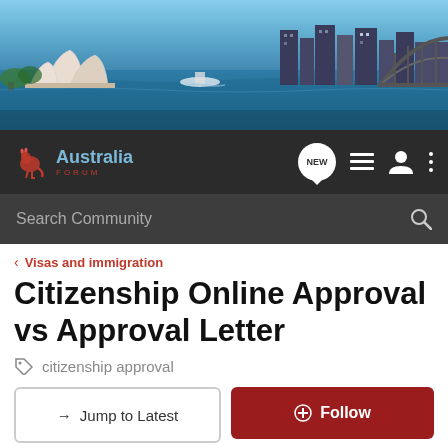[Figure (photo): Aerial photo of Sydney harbour with Opera House and Harbour Bridge, skyline in background, blue water]
[Figure (logo): Australia Forum logo with kangaroo icon, dark navigation bar with NEW badge, list icon, user icon, and menu dots]
Search Community
Visas and immigration
Citizenship Online Approval vs Approval Letter
citizenship approval
→ Jump to Latest
+ Follow
Not open for further replies.